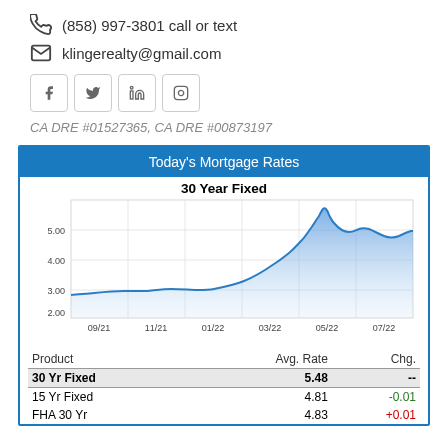(858) 997-3801 call or text
klingerealty@gmail.com
[Figure (other): Social media icons: Facebook, Twitter, LinkedIn, Instagram in bordered boxes]
CA DRE #01527365, CA DRE #00873197
Today's Mortgage Rates
[Figure (area-chart): Area chart showing 30 Year Fixed mortgage rate rising from ~2.75 in 09/21 to a peak around 5.8 in 06/22, then settling ~4.9 in 07/22]
| Product | Avg. Rate | Chg. |
| --- | --- | --- |
| 30 Yr Fixed | 5.48 | -- |
| 15 Yr Fixed | 4.81 | -0.01 |
| FHA 30 Yr | 4.83 | +0.01 |